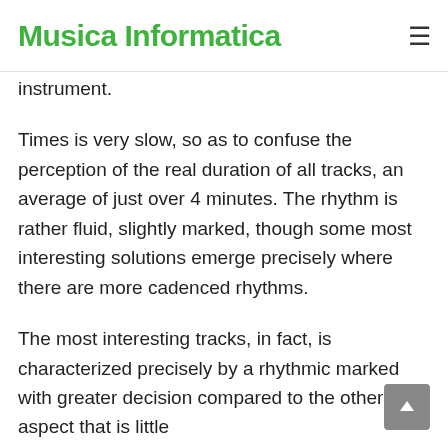Musica Informatica
instrument.
Times is very slow, so as to confuse the perception of the real duration of all tracks, an average of just over 4 minutes. The rhythm is rather fluid, slightly marked, though some most interesting solutions emerge precisely where there are more cadenced rhythms.
The most interesting tracks, in fact, is characterized precisely by a rhythmic marked with greater decision compared to the other. One aspect that is little